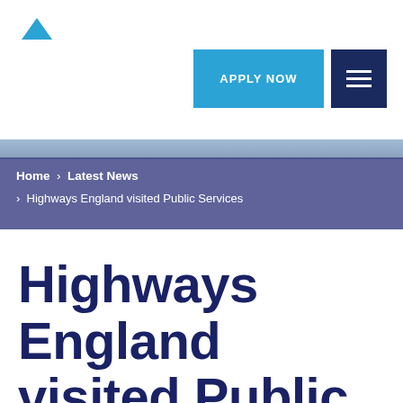[Figure (logo): Small blue triangular/arrow logo in top left header]
[Figure (other): Apply Now blue button in top right header area]
[Figure (other): Hamburger menu dark navy button in top right corner]
Home > Latest News > Highways England visited Public Services
Highways England visited Public Services